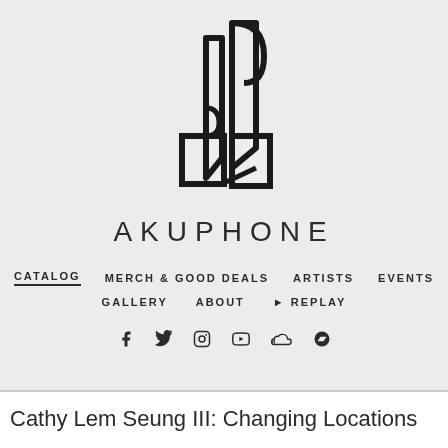[Figure (logo): Akuphone logo — abstract geometric figure resembling a stylized 'A' made of angular shapes and curves]
AKUPHONE
CATALOG   MERCH & GOOD DEALS   ARTISTS   EVENTS   GALLERY   ABOUT   ▶ REPLAY
Cathy Lem Seung III: Changing Locations